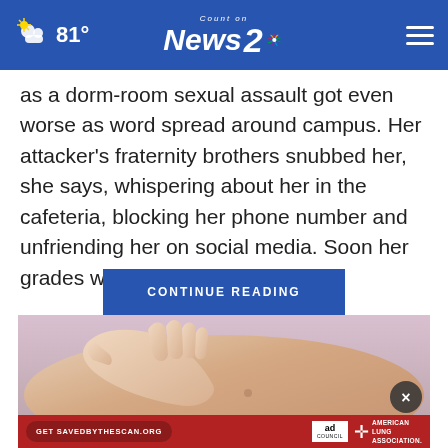81° Count on News 2 NBC
as a dorm-room sexual assault got even worse as word spread around campus. Her attacker's fraternity brothers snubbed her, she says, whispering about her in the cafeteria, blocking her phone number and unfriending her on social media. Soon her grades were slipping.
CONTINUE READING
[Figure (photo): Close-up photo of hands touching skin, likely illustrating a medical or sensitivity topic]
[Figure (other): Advertisement banner: Get SAVEDBYTHESCAN.ORG — Ad Council — American Lung Association]